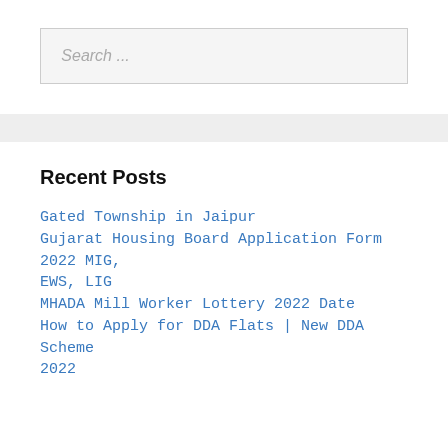Search ...
Recent Posts
Gated Township in Jaipur
Gujarat Housing Board Application Form 2022 MIG, EWS, LIG
MHADA Mill Worker Lottery 2022 Date
How to Apply for DDA Flats | New DDA Scheme 2022